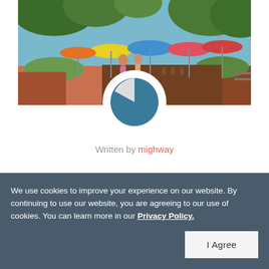[Figure (photo): Outdoor restaurant or park area with colorful umbrellas (yellow, blue, pink, red) over tables and people walking on a red/terracotta path, surrounded by trees and greenery]
[Figure (logo): Circular avatar logo with a dark teal/blue pie-chart-like design with a small white triangular slice, on a white circular background]
Written by mighway
We use cookies to improve your experience on our website. By continuing to use our website, you are agreeing to our use of cookies. You can learn more in our Privacy Policy.
I Agree